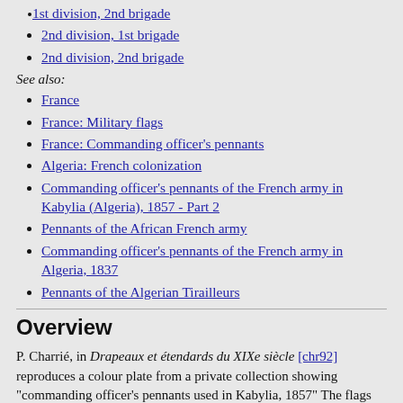1st division, 2nd brigade
2nd division, 1st brigade
2nd division, 2nd brigade
See also:
France
France: Military flags
France: Commanding officer's pennants
Algeria: French colonization
Commanding officer's pennants of the French army in Kabylia (Algeria), 1857 - Part 2
Pennants of the African French army
Commanding officer's pennants of the French army in Algeria, 1837
Pennants of the Algerian Tirailleurs
Overview
P. Charrié, in Drapeaux et étendards du XIXe siècle [chr92] reproduces a colour plate from a private collection showing "commanding officer's pennants used in Kabylia, 1857" The flags have been drawn and coloured by hand, and captions have also been written by the anonymous author.